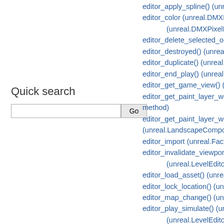Quick search
Go (search button)
editor_apply_spline() (unre...
editor_color (unreal.DMXEd... (unreal.DMXPixelMap...
editor_delete_selected_obje...
editor_destroyed() (unreal.V...
editor_duplicate() (unreal.VI...
editor_end_play() (unreal.E...
editor_get_game_view() (ur...
editor_get_paint_layer_weig... method)
editor_get_paint_layer_weig... (unreal.LandscapeCompone...
editor_import (unreal.Factor...
editor_invalidate_viewports... (unreal.LevelEditorSu...
editor_load_asset() (unreal....
editor_lock_location() (unre...
editor_map_change() (unre...
editor_play_simulate() (unre... (unreal.LevelEditorSu...
editor_pre_vis_only (unreal....
EDITOR_PREVIEW (unreal...